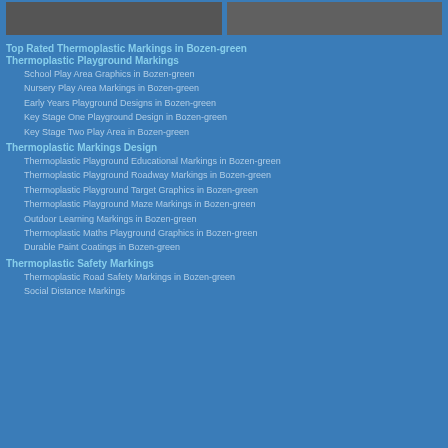[Figure (photo): Two dark/grayscale photo thumbnails side by side at the top of the page]
Top Rated Thermoplastic Markings in Bozen-green
Thermoplastic Playground Markings
School Play Area Graphics in Bozen-green
Nursery Play Area Markings in Bozen-green
Early Years Playground Designs in Bozen-green
Key Stage One Playground Design in Bozen-green
Key Stage Two Play Area in Bozen-green
Thermoplastic Markings Design
Thermoplastic Playground Educational Markings in Bozen-green
Thermoplastic Playground Roadway Markings in Bozen-green
Thermoplastic Playground Target Graphics in Bozen-green
Thermoplastic Playground Maze Markings in Bozen-green
Outdoor Learning Markings in Bozen-green
Thermoplastic Maths Playground Graphics in Bozen-green
Durable Paint Coatings in Bozen-green
Thermoplastic Safety Markings
Thermoplastic Road Safety Markings in Bozen-green
Social Distance Markings